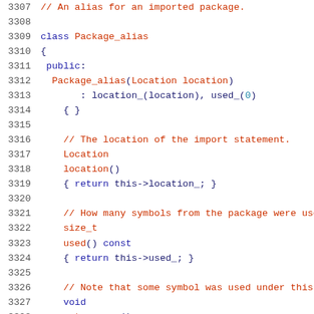[Figure (screenshot): C++ source code listing showing lines 3307-3328, defining a Package_alias class with constructor, location(), used() const, and note_usage() methods, with line numbers on the left and syntax highlighting.]